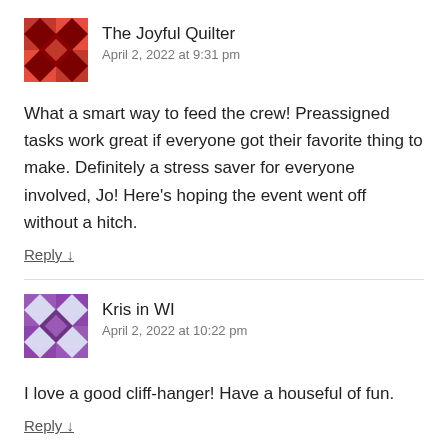[Figure (illustration): Red and dark red quilting pattern avatar for The Joyful Quilter]
The Joyful Quilter
April 2, 2022 at 9:31 pm
What a smart way to feed the crew! Preassigned tasks work great if everyone got their favorite thing to make. Definitely a stress saver for everyone involved, Jo! Here’s hoping the event went off without a hitch.
Reply ↓
[Figure (illustration): Purple and white quilting pattern avatar for Kris in WI]
Kris in WI
April 2, 2022 at 10:22 pm
I love a good cliff-hanger! Have a houseful of fun.
Reply ↓